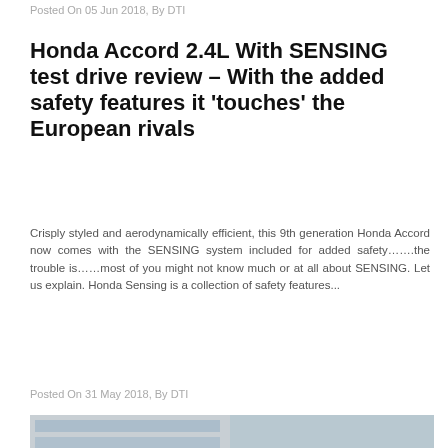Posted On 05 Jun 2018, By DTI
Honda Accord 2.4L With SENSING test drive review – With the added safety features it 'touches' the European rivals
Crisply styled and aerodynamically efficient, this 9th generation Honda Accord now comes with the SENSING system included for added safety…….the trouble is……most of you might not know much or at all about SENSING. Let us explain. Honda Sensing is a collection of safety features...
Posted On 31 May 2018, By DTI
[Figure (photo): Front view of a silver car on a road/track, appearing to be a BMW, photographed from a low angle showing the front grille and hood.]